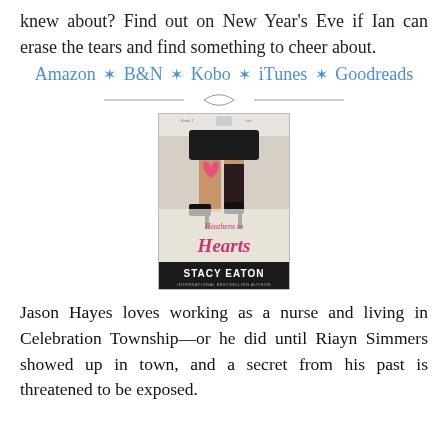knew about? Find out on New Year's Eve if Ian can erase the tears and find something to cheer about.
Amazon ★ B&N ★ Kobo ★ iTunes ★ Goodreads
[Figure (photo): Book cover of 'Heathens to Hearts' by Stacy Eaton, International Bestselling Author. Shows a woman's legs in heels and black skirt holding a pink heart.]
Jason Hayes loves working as a nurse and living in Celebration Township—or he did until Riayn Simmers showed up in town, and a secret from his past is threatened to be exposed.